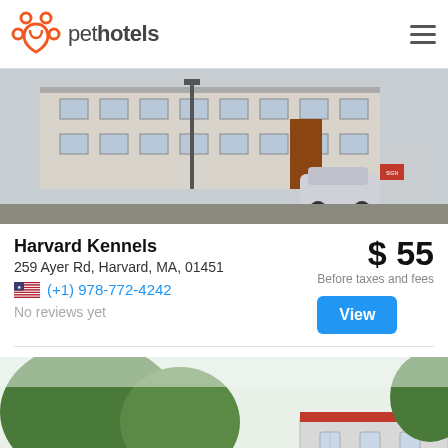pethotels
[Figure (photo): Street view photo of Harvard Kennels exterior building, a two-story house with multiple windows, a car parked in front, and a lamppost.]
Harvard Kennels
259 Ayer Rd, Harvard, MA, 01451
(+1) 978-772-4242
$ 55
Before taxes and fees
No reviews yet
View
[Figure (photo): Exterior photo of another pet hotel location, showing large trees in foreground with a building partially visible behind them.]